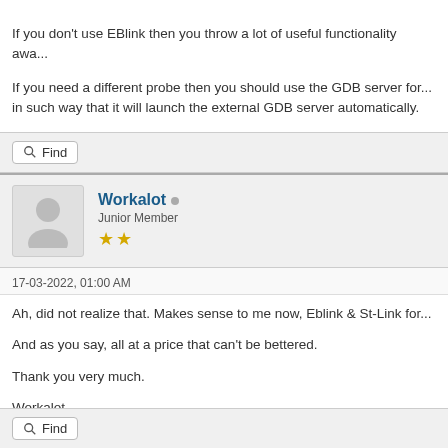If you don't use EBlink then you throw a lot of useful functionality awa...
If you need a different probe then you should use the GDB server for... in such way that it will launch the external GDB server automatically.
Find
Workalot
Junior Member
17-03-2022, 01:00 AM
Ah, did not realize that. Makes sense to me now, Eblink & St-Link for...
And as you say, all at a price that can't be bettered.
Thank you very much.
Workalot
Find